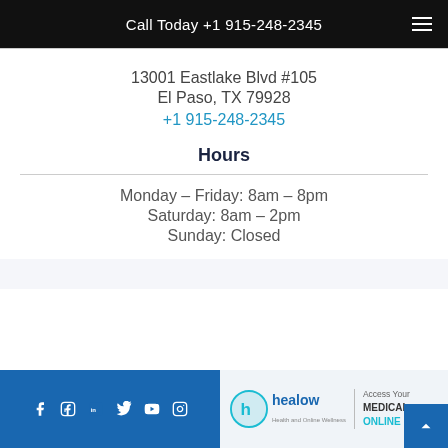Call Today +1 915-248-2345
13001 Eastlake Blvd #105
El Paso, TX 79928
+1 915-248-2345
Hours
Monday – Friday: 8am – 8pm
Saturday: 8am – 2pm
Sunday: Closed
[Figure (logo): healow – Health and Online Wellness logo with circular icon]
Access Your MEDICAL RECORDS ONLINE